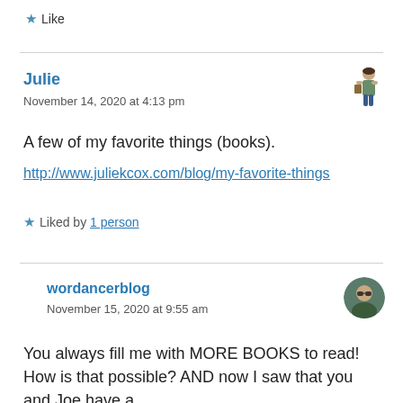★ Like
Julie
November 14, 2020 at 4:13 pm
A few of my favorite things (books).
http://www.juliekcox.com/blog/my-favorite-things
★ Liked by 1 person
wordancerblog
November 15, 2020 at 9:55 am
You always fill me with MORE BOOKS to read! How is that possible? AND now I saw that you and Joe have a